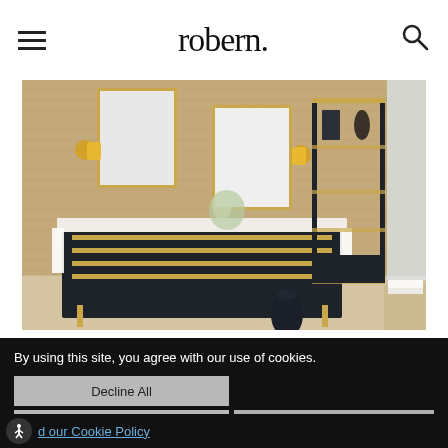robern. [hamburger menu icon] [search icon]
[Figure (photo): Luxury bathroom scene featuring dark navy/black vanity cabinet with gold hardware and handles, two rectangular framed mirrors with gold wall sconces on either side, white marble countertop with flowers, and a tall black and gold open shelving unit to the right with decorative items. A dark vase sits on the floor. The background wall has a woven grasscloth texture in warm tan/brown tones. Pale tile flooring visible. A side table with white towels on the far right.]
By using this site, you agree with our use of cookies.
Decline All
I consent to cookies
Want to know more?
d our Cookie Policy